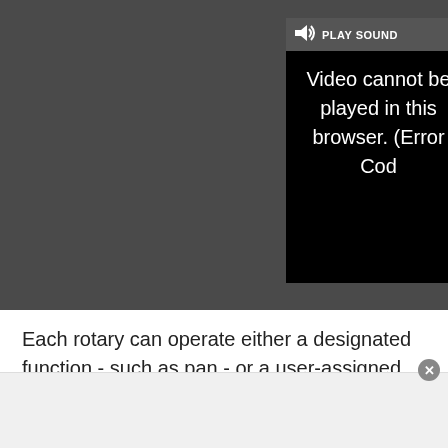[Figure (screenshot): A video player embedded in a browser/app UI showing a dark overlay with a 'PLAY SOUND' button bar containing a speaker icon and text label. The video area displays a black box with white text reading 'Video cannot be played in this browser. (Error Cod'. A white X close button appears top right and a resize/expand icon appears at middle right of the overlay bar. The overall player background is dark gray (#4a4a4a).]
Each rotary can operate either a designated function - such as pan - or a user-assigned parameter.
Several other momentary buttons give you direct access to a range of functions. To the left of the